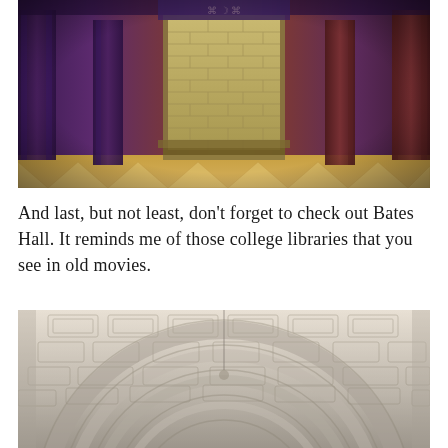[Figure (photo): Interior architectural photo showing ornate marble columns and walls with purple, red and dark tones, decorative fireplace or niche with brick interior, flanked by carved pillars. The floor has a diamond-pattern tile design in yellow and cream. The style is grand classical architecture, possibly a library or public building entrance hall.]
And last, but not least, don't forget to check out Bates Hall. It reminds me of those college libraries that you see in old movies.
[Figure (photo): Interior architectural photo showing an ornate vaulted ceiling with coffered arches, classical decorative moldings in cream/white stone. The perspective looks up and along the grand arched ceiling of what appears to be Bates Hall at the Boston Public Library.]